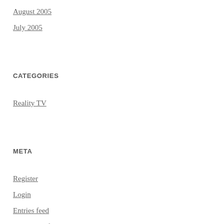August 2005
July 2005
CATEGORIES
Reality TV
META
Register
Login
Entries feed
Comments feed
WordPress.com